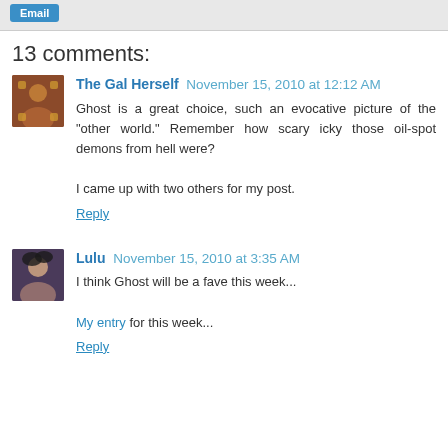[Figure (other): Email button in grey top bar]
13 comments:
The Gal Herself  November 15, 2010 at 12:12 AM
Ghost is a great choice, such an evocative picture of the "other world." Remember how scary icky those oil-spot demons from hell were?

I came up with two others for my post.
Reply
Lulu  November 15, 2010 at 3:35 AM
I think Ghost will be a fave this week...
My entry for this week...
Reply